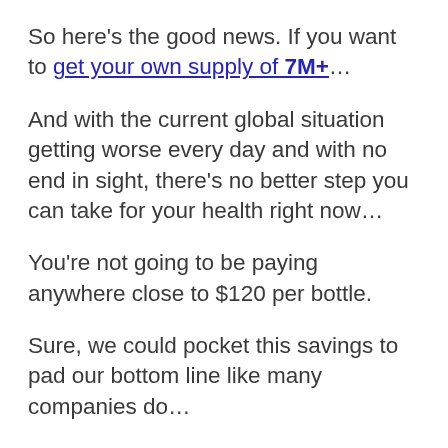So here's the good news. If you want to get your own supply of 7M+…
And with the current global situation getting worse every day and with no end in sight, there's no better step you can take for your health right now…
You're not going to be paying anywhere close to $120 per bottle.
Sure, we could pocket this savings to pad our bottom line like many companies do…
But since Organixx is committed to empowering the world organically and supporting everyone on their journey to health…